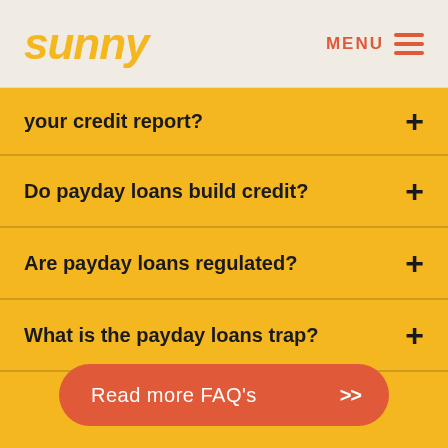sunny | MENU
your credit report? +
Do payday loans build credit? +
Are payday loans regulated? +
What is the payday loans trap? +
Read more FAQ's >>